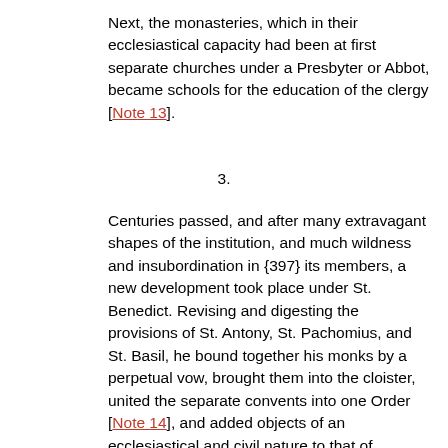Next, the monasteries, which in their ecclesiastical capacity had been at first separate churches under a Presbyter or Abbot, became schools for the education of the clergy [Note 13].
3.
Centuries passed, and after many extravagant shapes of the institution, and much wildness and insubordination in {397} its members, a new development took place under St. Benedict. Revising and digesting the provisions of St. Antony, St. Pachomius, and St. Basil, he bound together his monks by a perpetual vow, brought them into the cloister, united the separate convents into one Order [Note 14], and added objects of an ecclesiastical and civil nature to that of personal edification. Of these objects, agriculture seemed to St. Benedict himself of first importance; but in a very short time it was superseded by study and education, and the monasteries of the following centuries became the schools and libraries, and the monks the chroniclers and copyists, of a dark period. Centuries later, the Benedictine Order was